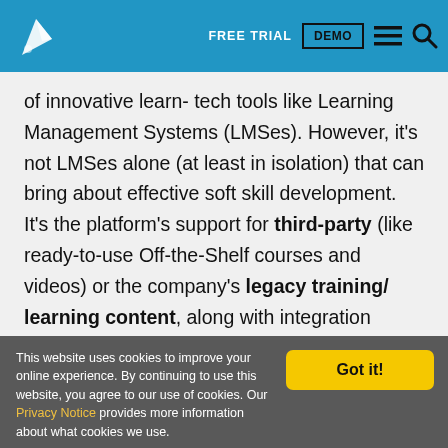FREE TRIAL | DEMO
of innovative learn- tech tools like Learning Management Systems (LMSes). However, it's not LMSes alone (at least in isolation) that can bring about effective soft skill development. It's the platform's support for third-party (like ready-to-use Off-the-Shelf courses and videos) or the company's legacy training/ learning content, along with integration capabilities with Online Content Marketplaces (the likes of LinkedIn
This website uses cookies to improve your online experience. By continuing to use this website, you agree to our use of cookies. Our Privacy Notice provides more information about what cookies we use.